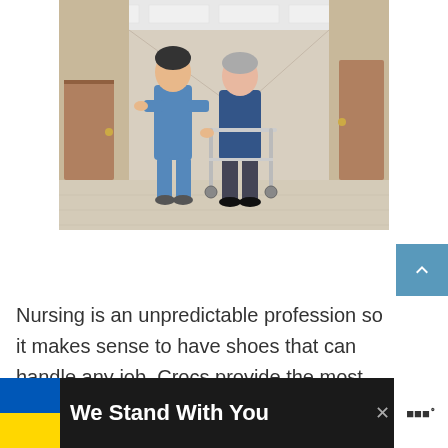[Figure (photo): A nurse in blue scrubs assists an elderly woman using a walker in a hospital corridor.]
Nursing is an unpredictable profession so it makes sense to have shoes that can handle any job. Crocs provide the most versatile and comfortable footwear on the market and are perfect for nurses who often need to move around and stand on their
[Figure (infographic): Advertisement banner: Ukraine flag colors on left, text 'We Stand With You' on dark background, close X button, and logo on right.]